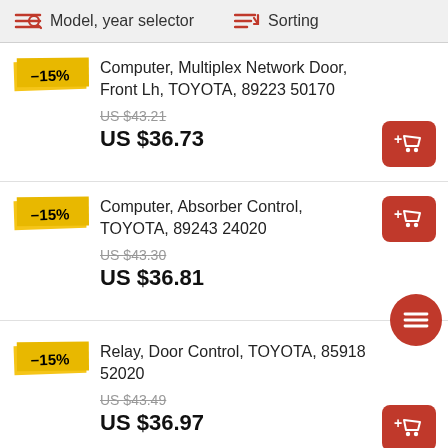Model, year selector   Sorting
Computer, Multiplex Network Door, Front Lh, TOYOTA, 89223 50170 | −15% | US $43.21 | US $36.73
Computer, Absorber Control, TOYOTA, 89243 24020 | −15% | US $43.30 | US $36.81
Relay, Door Control, TOYOTA, 85918 52020 | −15% | US $43.49 | US $36.97